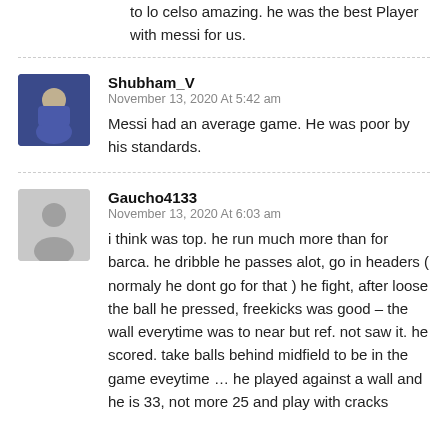to lo celso amazing. he was the best Player with messi for us.
Shubham_V
November 13, 2020 At 5:42 am
Messi had an average game. He was poor by his standards.
Gaucho4133
November 13, 2020 At 6:03 am
i think was top. he run much more than for barca. he dribble he passes alot, go in headers ( normaly he dont go for that ) he fight, after loose the ball he pressed, freekicks was good – the wall everytime was to near but ref. not saw it. he scored. take balls behind midfield to be in the game eveytime … he played against a wall and he is 33, not more 25 and play with cracks